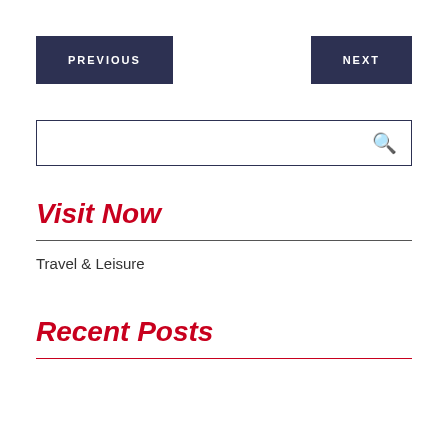PREVIOUS
NEXT
Visit Now
Travel & Leisure
Recent Posts